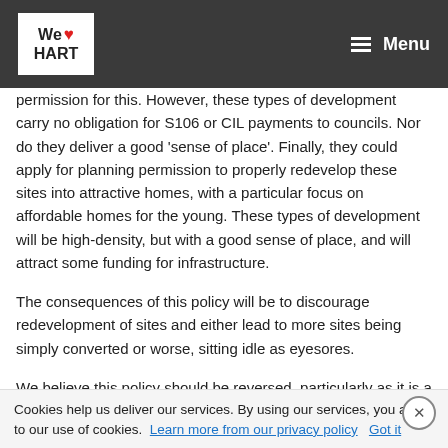We ❤ HART | Menu
permission for this. However, these types of development carry no obligation for S106 or CIL payments to councils. Nor do they deliver a good 'sense of place'. Finally, they could apply for planning permission to properly redevelop these sites into attractive homes, with a particular focus on affordable homes for the young. These types of development will be high-density, but with a good sense of place, and will attract some funding for infrastructure.
The consequences of this policy will be to discourage redevelopment of sites and either lead to more sites being simply converted or worse, sitting idle as eyesores.
We believe this policy should be reversed, particularly as it is a direct contravention of a statement made by the council leader, who said there were no plans to restrict the
Cookies help us deliver our services. By using our services, you agree to our use of cookies. Learn more from our privacy policy Got it